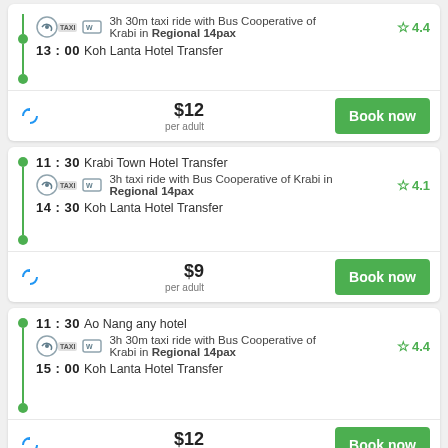3h 30m taxi ride with Bus Cooperative of Krabi in Regional 14pax | 13:00 Koh Lanta Hotel Transfer | Rating: 4.4 | $12 per adult
11:30 Krabi Town Hotel Transfer | 3h taxi ride with Bus Cooperative of Krabi in Regional 14pax | 14:30 Koh Lanta Hotel Transfer | Rating: 4.1 | $9 per adult
11:30 Ao Nang any hotel | 3h 30m taxi ride with Bus Cooperative of Krabi in Regional 14pax | 15:00 Koh Lanta Hotel Transfer | Rating: 4.4 | $12 per adult